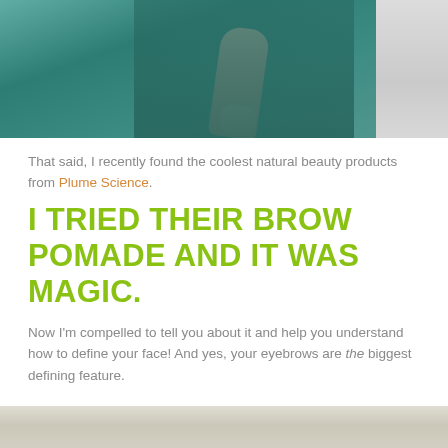[Figure (photo): Woman in teal/green jumpsuit, arm visible with hand clasped, light background]
That said, I recently found the coolest natural beauty products from Plume Science.
I TRIED THEIR BROW POMADE AND IT WAS MAGIC.
Now I'm compelled to tell you about it and help you understand how to define your face! And yes, your eyebrows are the biggest defining feature.
[Figure (photo): Partial bottom photo, appears to be a light-colored background scene]